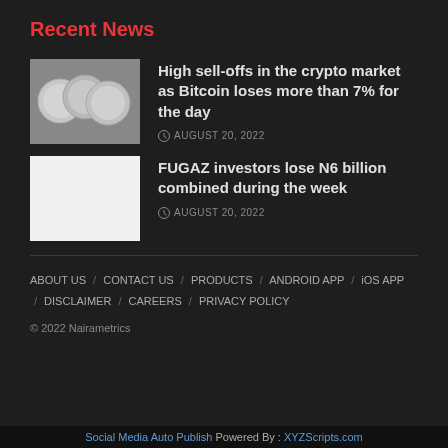Recent News
[Figure (photo): Thumbnail image of coins/cryptocurrency]
High sell-offs in the crypto market as Bitcoin loses more than 7% for the day
AUGUST 20, 2022
[Figure (photo): White/blank thumbnail image]
FUGAZ investors lose N6 billion combined during the week
AUGUST 20, 2022
ABOUT US / CONTACT US / PRODUCTS / ANDROID APP / iOS APP / DISCLAIMER / CAREERS / PRIVACY POLICY
© 2022 Nairametrics
Social Media Auto Publish Powered By : XYZScripts.com